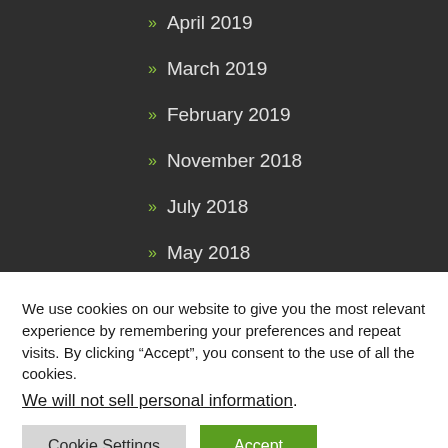» April 2019
» March 2019
» February 2019
» November 2018
» July 2018
» May 2018
We use cookies on our website to give you the most relevant experience by remembering your preferences and repeat visits. By clicking “Accept”, you consent to the use of all the cookies.
We will not sell personal information.
Cookie Settings
Accept